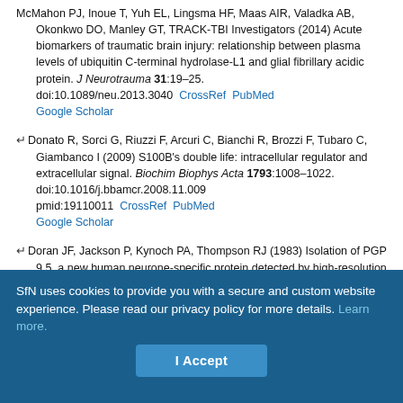McMahon PJ, Inoue T, Yuh EL, Lingsma HF, Maas AIR, Valadka AB, Okonkwo DO, Manley GT, TRACK-TBI Investigators (2014) Acute biomarkers of traumatic brain injury: relationship between plasma levels of ubiquitin C-terminal hydrolase-L1 and glial fibrillary acidic protein. J Neurotrauma 31:19–25. doi:10.1089/neu.2013.3040 CrossRef PubMed Google Scholar
Donato R, Sorci G, Riuzzi F, Arcuri C, Bianchi R, Brozzi F, Tubaro C, Giambanco I (2009) S100B's double life: intracellular regulator and extracellular signal. Biochim Biophys Acta 1793:1008–1022. doi:10.1016/j.bbamcr.2008.11.009 pmid:19110011 CrossRef PubMed Google Scholar
Doran JF, Jackson P, Kynoch PA, Thompson RJ (1983) Isolation of PGP 9.5, a new human neurone-specific protein detected by high-resolution two-dimensional electrophoresis. J Neurochem 40:1542–1547. pmid:6343558 CrossRef PubMed Google Scholar
SfN uses cookies to provide you with a secure and custom website experience. Please read our privacy policy for more details. Learn more.